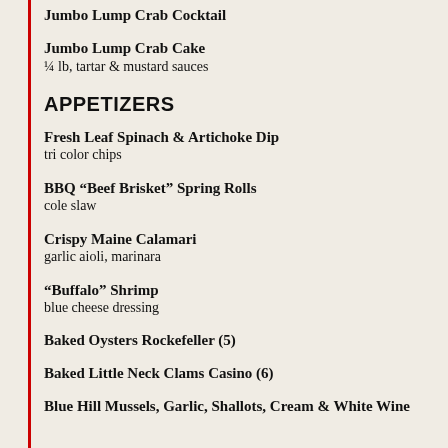Jumbo Lump Crab Cocktail
Jumbo Lump Crab Cake
¼ lb, tartar & mustard sauces
APPETIZERS
Fresh Leaf Spinach & Artichoke Dip
tri color chips
BBQ “Beef Brisket” Spring Rolls
cole slaw
Crispy Maine Calamari
garlic aioli, marinara
“Buffalo” Shrimp
blue cheese dressing
Baked Oysters Rockefeller (5)
Baked Little Neck Clams Casino (6)
Blue Hill Mussels, Garlic, Shallots, Cream & White Wine